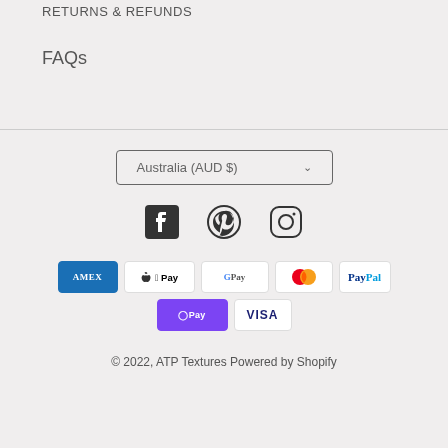RETURNS & REFUNDS
FAQs
[Figure (screenshot): Country selector dropdown showing 'Australia (AUD $)' with chevron arrow]
[Figure (infographic): Social media icons: Facebook, Pinterest, Instagram]
[Figure (infographic): Payment method icons: American Express, Apple Pay, Google Pay, Mastercard, PayPal, Shop Pay, Visa]
© 2022, ATP Textures Powered by Shopify